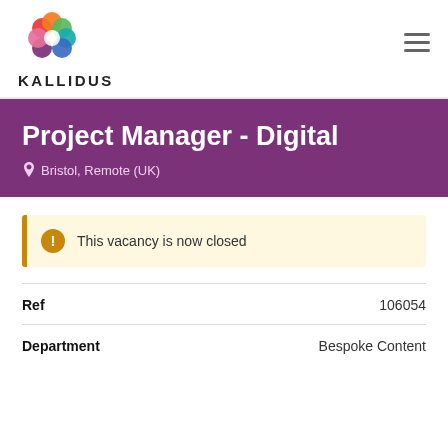[Figure (logo): Kallidus logo: colorful flower made of overlapping circles in red, orange, pink, teal, green, blue, purple; below it the word KALLIDUS in bold black uppercase letters]
This vacancy is now closed
Project Manager - Digital
Bristol, Remote (UK)
| Field | Value |
| --- | --- |
| Ref | 106054 |
| Department | Bespoke Content |